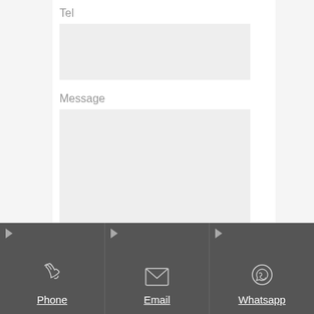Tel
[Figure (other): Empty input field for Tel]
Message
[Figure (other): Empty textarea for Message]
Phone
Email
Whatsapp